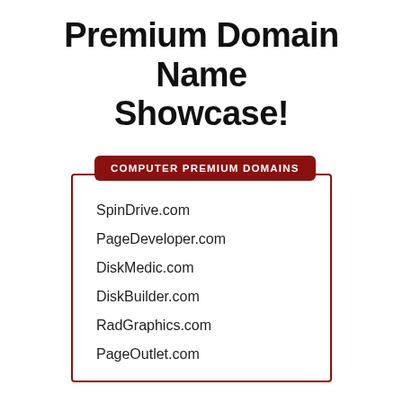Premium Domain Name Showcase!
COMPUTER PREMIUM DOMAINS
SpinDrive.com
PageDeveloper.com
DiskMedic.com
DiskBuilder.com
RadGraphics.com
PageOutlet.com